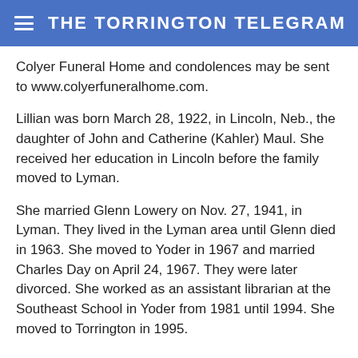THE TORRINGTON TELEGRAM
Colyer Funeral Home and condolences may be sent to www.colyerfuneralhome.com.
Lillian was born March 28, 1922, in Lincoln, Neb., the daughter of John and Catherine (Kahler) Maul. She received her education in Lincoln before the family moved to Lyman.
She married Glenn Lowery on Nov. 27, 1941, in Lyman. They lived in the Lyman area until Glenn died in 1963. She moved to Yoder in 1967 and married Charles Day on April 24, 1967. They were later divorced. She worked as an assistant librarian at the Southeast School in Yoder from 1981 until 1994. She moved to Torrington in 1995.